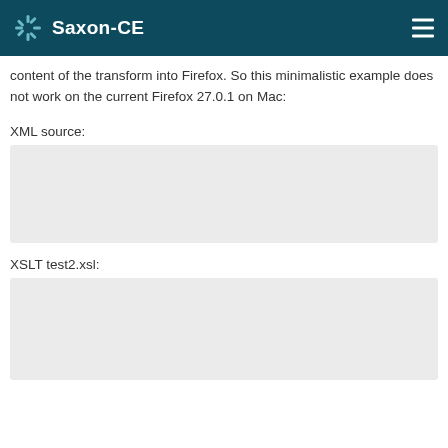Saxon-CE
content of the transform into Firefox. So this minimalistic example does not work on the current Firefox 27.0.1 on Mac:
XML source:
[Figure (other): Empty light grey code block for XML source]
XSLT test2.xsl:
[Figure (other): Empty light grey code block for XSLT test2.xsl]